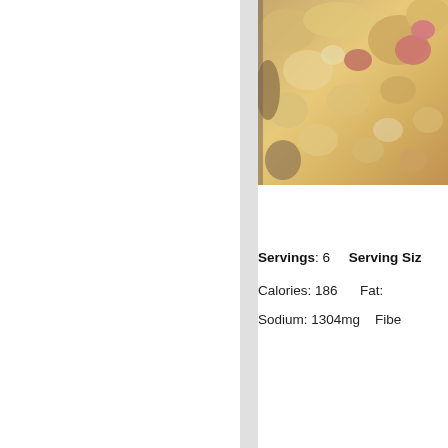[Figure (photo): Close-up photo of food, appears to be pizza or similar dish with toppings, warm golden/tan colors with red and pink elements]
Servings: 6    Serving Si...
Calories: 186    Fat: ...
Sodium: 1304mg    Fibe...